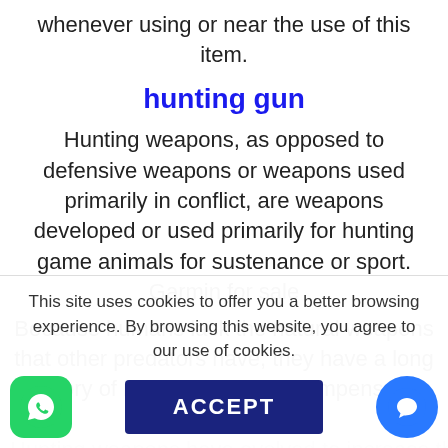whenever using or near the use of this item.
hunting gun
Hunting weapons, as opposed to defensive weapons or weapons used primarily in conflict, are weapons developed or used primarily for hunting game animals for sustenance or sport. Garmin for sale
Because humans lack the natural weapons that other predators have, they have a long history of inventing tools to compensate. Buy hunting gun, Hunting weapons have evolved to increase the
This site uses cookies to offer you a better browsing experience. By browsing this website, you agree to our use of cookies.
[Figure (other): WhatsApp icon button (green rounded square with phone handset logo)]
[Figure (other): ACCEPT button (dark navy blue rectangle with white bold text)]
[Figure (other): Chat/message icon button (blue circle with speech bubble icon)]